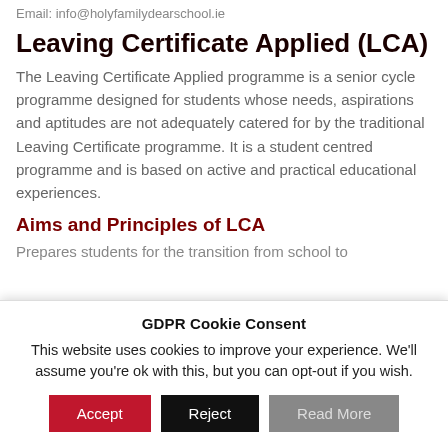Email: info@holyfamilydearschool.ie
Leaving Certificate Applied (LCA)
The Leaving Certificate Applied programme is a senior cycle programme designed for students whose needs, aspirations and aptitudes are not adequately catered for by the traditional Leaving Certificate programme. It is a student centred programme and is based on active and practical educational experiences.
Aims and Principles of LCA
Prepares students for the transition from school to
GDPR Cookie Consent
This website uses cookies to improve your experience. We'll assume you're ok with this, but you can opt-out if you wish.
Accept  Reject  Read More